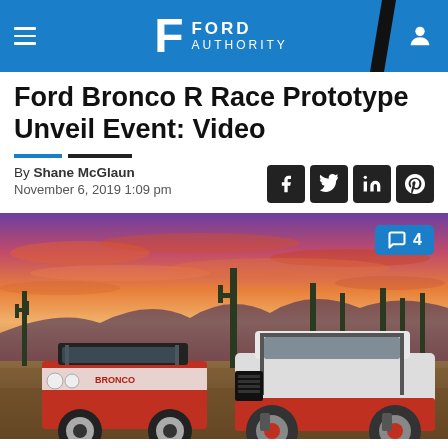Ford Authority
Ford Bronco R Race Prototype Unveil Event: Video
By Shane McGlaun
November 6, 2019 1:09 pm
[Figure (photo): Two Ford Bronco vehicles parked in a desert landscape at sunset with saguaro cacti and colorful sky in the background. Left vehicle is a classic red Bronco with 'BRONCO' text, right is the new 2019 Ford Bronco R Race Prototype in white and red.]